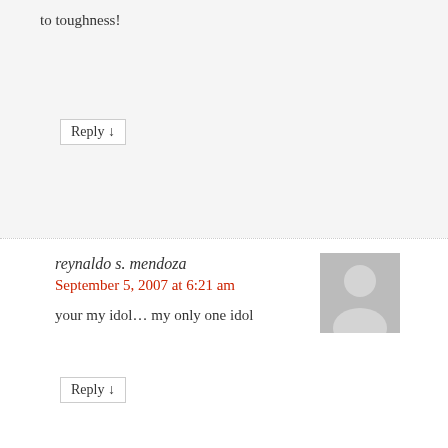to toughness!
Reply ↓
reynaldo s. mendoza
September 5, 2007 at 6:21 am
your my idol… my only one idol
Reply ↓
michael m. sumargo
September 19, 2007 at 10:11 pm
I2 ANG AKING IDOOOOOOOOOOOL AT